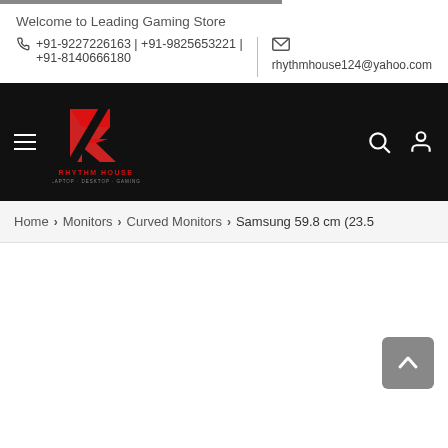Welcome to Leading Gaming Store
+91-9227226163 | +91-9825653221 | +91-8140666180
rhythmhouse124@yahoo.com
[Figure (logo): Rhythm House gaming store logo — stylized red R on black background with text RHYTHM HOUSE below]
Home > Monitors > Curved Monitors > Samsung 59.8 cm (23.5
[Figure (other): Scroll-to-top button (gray rounded square with upward chevron)]